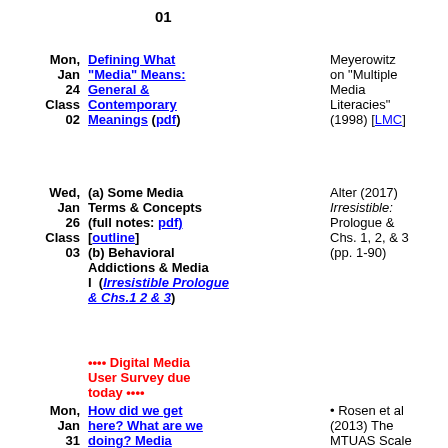01
Mon, Jan 24 Class 02 | Defining What "Media" Means: General & Contemporary Meanings (pdf) | Meyerowitz on "Multiple Media Literacies" (1998) [LMC]
Wed, Jan 26 Class 03 | (a) Some Media Terms & Concepts (full notes: pdf) [outline] (b) Behavioral Addictions & Media I (Notes on Irresistible Prologue & Chs.1 2 & 3) | Alter (2017) Irresistible: Prologue & Chs. 1, 2, & 3 (pp. 1-90)
•••• Digital Media User Survey due today ••••
Mon, Jan 31 | How did we get here? What are we doing? Media | • Rosen et al (2013) The MTUAS Scale